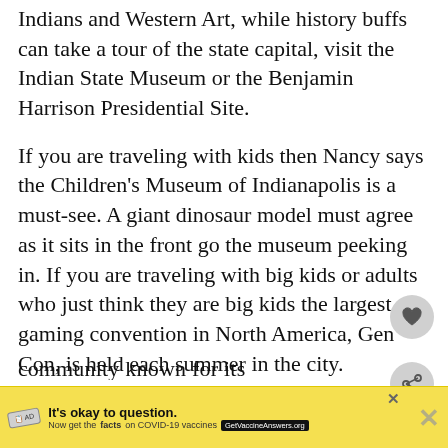Indians and Western Art, while history buffs can take a tour of the state capital, visit the Indian State Museum or the Benjamin Harrison Presidential Site.
If you are traveling with kids then Nancy says the Children's Museum of Indianapolis is a must-see. A giant dinosaur model must agree as it sits in the front go the museum peeking in. If you are traveling with big kids or adults who just think they are big kids the largest gaming convention in North America, Gen Con, is held each summer in the city.
For side trips, Nancy recommends a fall visit to Brown County State Park for fall foliage and the artist colony at Nashville, Indiana. Other side trips she recommends are to the town of Fis... Conner Prairie Interactive History Park (living history museum) or to Columbus Indiana which is a community known for its spectacular arch[ects.
[Figure (infographic): What's Next card showing 'Travel to Barcelona,...' with building image thumbnail]
[Figure (infographic): Ad banner: It's okay to question. Now get the facts on COVID-19 vaccines. GetVaccineAnswers.org]